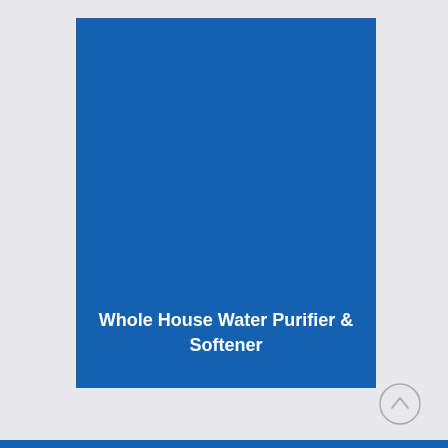[Figure (illustration): Blue cover card with white title text 'Whole House Water Purifier & Softener' at the bottom center on a solid blue background]
Whole House Water Purifier & Softener